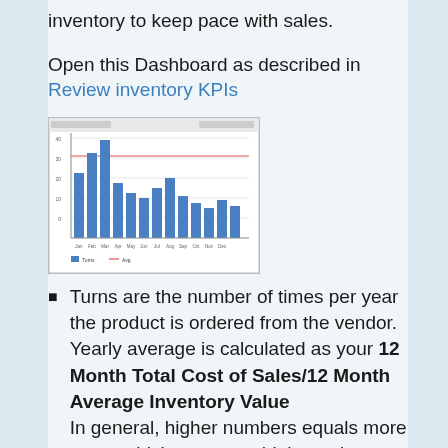inventory to keep pace with sales.
Open this Dashboard as described in Review inventory KPIs
[Figure (screenshot): Screenshot of a bar chart dashboard showing inventory KPI data with multiple blue bars of varying heights]
Turns are the number of times per year the product is ordered from the vendor. Yearly average is calculated as your 12 Month Total Cost of Sales/12 Month Average Inventory Value In general, higher numbers equals more turns, which represent higher sales. This calculation is performed at the close of